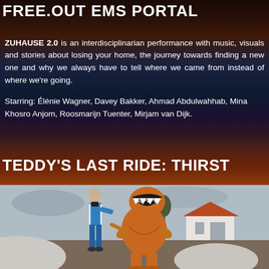FREE.OUT EMS PORTAL
ZUHAUSE 2.0 is an interdisciplinarian performance with music, visuals and stories about losing your home, the journey towards finding a new one and why we always have to tell where we came from instead of where we're going.
Starring: Élénie Wagner, Davey Bakker, Ahmad Abdulwahhab, Mina Khosro Anjom, Roosmarijn Tuenter, Mirjam van Dijk.
TEDDY'S LAST RIDE: THIRST
[Figure (photo): Outdoor scene showing a person in a blue track suit walking hand-in-hand with someone in an inflatable T-Rex dinosaur costume on a dirt/gravel area. A white house with orange-red roof is visible in the background, along with trees and grey sky.]